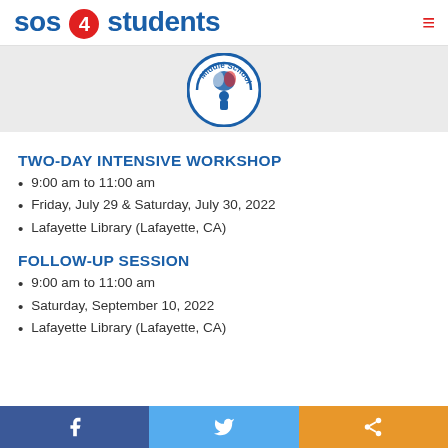sos 4 students
[Figure (logo): Middle School circular badge logo with blue border and red/blue graphic inside]
TWO-DAY INTENSIVE WORKSHOP
9:00 am to 11:00 am
Friday, July 29 & Saturday, July 30, 2022
Lafayette Library (Lafayette, CA)
FOLLOW-UP SESSION
9:00 am to 11:00 am
Saturday, September 10, 2022
Lafayette Library (Lafayette, CA)
Facebook | Twitter | Share